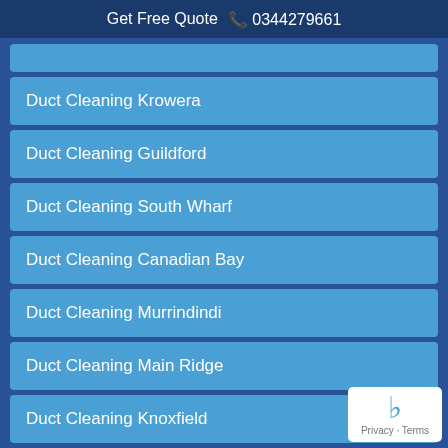Get Free Quote  📞 0344279661
Duct Cleaning Krowera
Duct Cleaning Guildford
Duct Cleaning South Wharf
Duct Cleaning Canadian Bay
Duct Cleaning Murrindindi
Duct Cleaning Main Ridge
Duct Cleaning Knoxfield
Duct Cleaning Charlemont